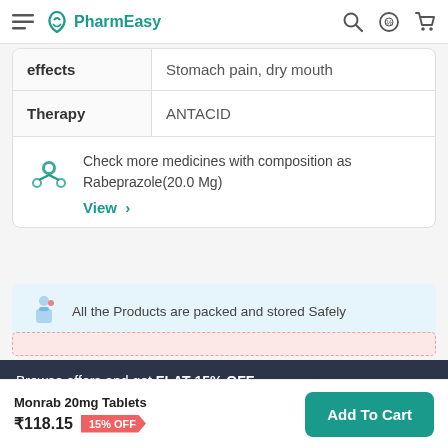PharmEasy
| Field | Value |
| --- | --- |
| effects | Stomach pain, dry mouth |
| Therapy | ANTACID |
Check more medicines with composition as Rabeprazole(20.0 Mg)
View >
All the Products are packed and stored Safely
Browse offers and get FLAT 15% OFF
Monrab 20mg Tablets ₹118.15 15% OFF
Add To Cart